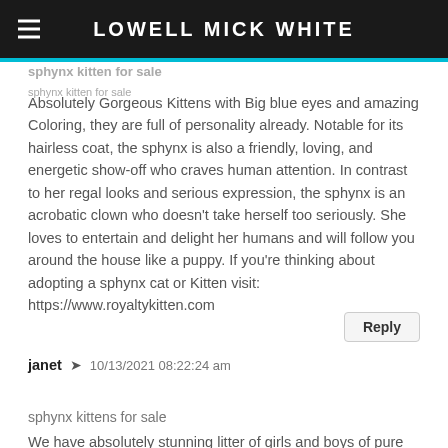LOWELL MICK WHITE
sphynx kitten for sale
Absolutely Gorgeous Kittens with Big blue eyes and amazing Coloring, they are full of personality already. Notable for its hairless coat, the sphynx is also a friendly, loving, and energetic show-off who craves human attention. In contrast to her regal looks and serious expression, the sphynx is an acrobatic clown who doesn't take herself too seriously. She loves to entertain and delight her humans and will follow you around the house like a puppy. If you're thinking about adopting a sphynx cat or Kitten visit: https://www.royaltykitten.com
janet  10/13/2021 08:22:24 am
sphynx kittens for sale
We have absolutely stunning litter of girls and boys of pure beauty Sphynx kittens. They are perfectly content curled up on your lap! More than just cats, they are members of the family and whilst they exude grace and sophistication, they are outgoing, sociable and playful. Kittens are registered with TICA. Have microchip, have been worm&flea treated, have 1st